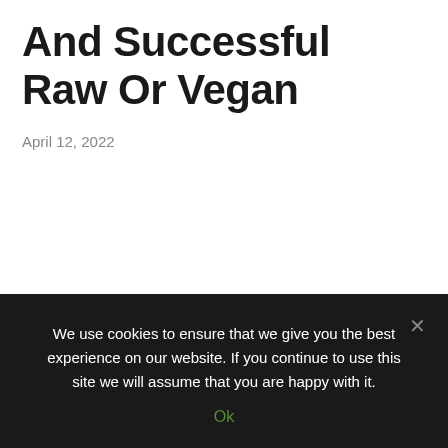And Successful Raw Or Vegan
April 12, 2022
We use cookies to ensure that we give you the best experience on our website. If you continue to use this site we will assume that you are happy with it.
Ok